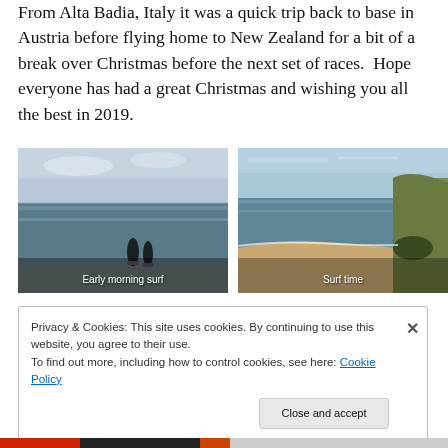From Alta Badia, Italy it was a quick trip back to base in Austria before flying home to New Zealand for a bit of a break over Christmas before the next set of races.  Hope everyone has had a great Christmas and wishing you all the best in 2019.
[Figure (photo): Two surfers in the ocean at dawn/dusk with caption 'Early morning surf']
[Figure (photo): Aerial view of a beach coastline with caption 'Surf time']
Privacy & Cookies: This site uses cookies. By continuing to use this website, you agree to their use.
To find out more, including how to control cookies, see here: Cookie Policy
Close and accept